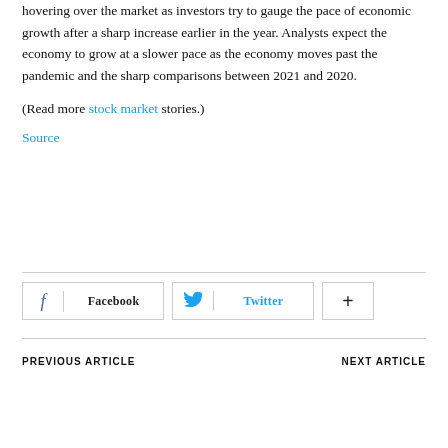hovering over the market as investors try to gauge the pace of economic growth after a sharp increase earlier in the year. Analysts expect the economy to grow at a slower pace as the economy moves past the pandemic and the sharp comparisons between 2021 and 2020.
(Read more stock market stories.)
Source
[Figure (other): Social sharing buttons: Facebook, Twitter, and a plus/add button]
PREVIOUS ARTICLE    NEXT ARTICLE